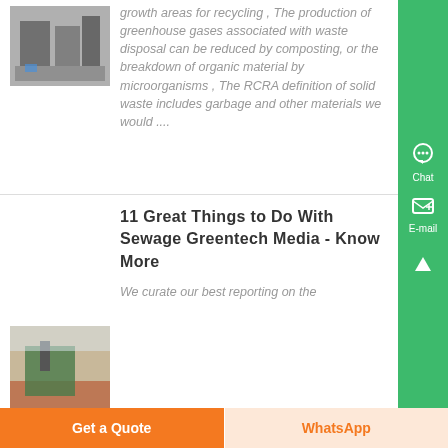[Figure (photo): Industrial waste processing machinery and containers outdoors]
growth areas for recycling , The production of greenhouse gases associated with waste disposal can be reduced by composting, or the breakdown of organic material by microorganisms , The RCRA definition of solid waste includes garbage and other materials we would ....
[Figure (photo): Outdoor waste processing facility with large equipment and red soil ground]
11 Great Things to Do With Sewage Greentech Media - Know More
We curate our best reporting on the
Chat
E-mail
Get a Quote
WhatsApp